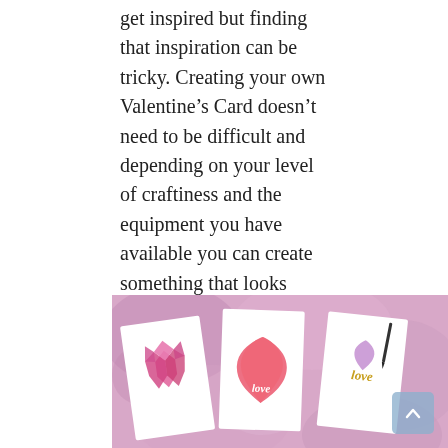get inspired but finding that inspiration can be tricky. Creating your own Valentine's Card doesn't need to be difficult and depending on your level of craftiness and the equipment you have available you can create something that looks amazing really easily. Take a look at these top ways to make your own Valentine's cards using a variety of methods.
[Figure (photo): Photo of three handmade Valentine's Day cards on a pink/purple watercolor background. The cards feature hand-painted hearts and the word 'love' in script, displayed at angles.]